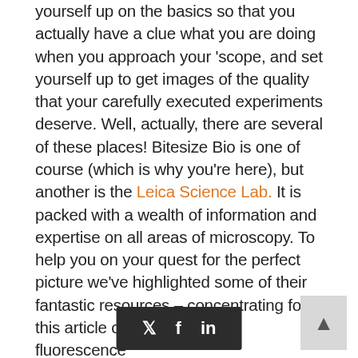yourself up on the basics so that you actually have a clue what you are doing when you approach your 'scope, and set yourself up to get images of the quality that your carefully executed experiments deserve. Well, actually, there are several of these places! Bitesize Bio is one of course (which is why you're here), but another is the Leica Science Lab. It is packed with a wealth of information and expertise on all areas of microscopy. To help you on your quest for the perfect picture we've highlighted some of their fantastic resources – concentrating for this article on those covering fluorescence